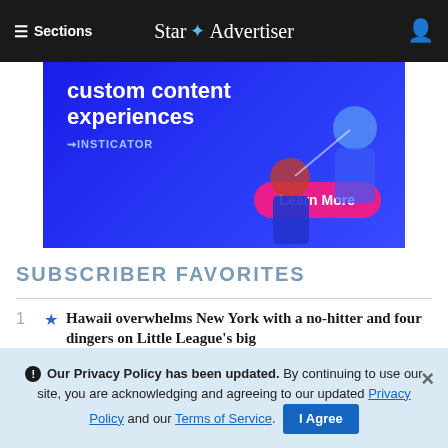≡ Sections | Star Advertiser
[Figure (illustration): Advertisement banner for Insticator featuring 'custom content experiences' text with illustrated figures and a 'Learn More' pink button on a blue gradient background]
SUBSCRIBER FAVORITES
1 ★ Hawaii overwhelms New York with a no-hitter and four dingers on Little League's big
ADVERTISEMENT
ℹ Our Privacy Policy has been updated. By continuing to use our site, you are acknowledging and agreeing to our updated Privacy Policy and our Terms of Service. I Agree